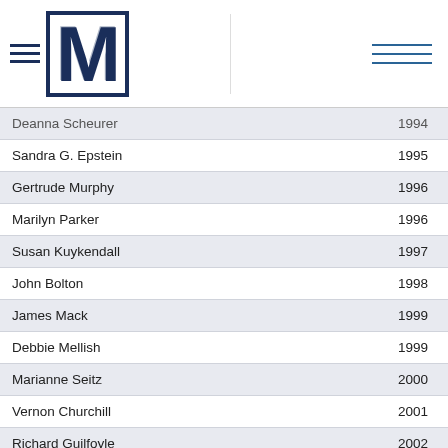[Figure (logo): Stylized letter M logo in navy blue with horizontal lines, resembling a university or organization mark]
| Name | Year |
| --- | --- |
| Deanna Scheurer (partial) | 1994 |
| Sandra G. Epstein | 1995 |
| Gertrude Murphy | 1996 |
| Marilyn Parker | 1996 |
| Susan Kuykendall | 1997 |
| John Bolton | 1998 |
| James Mack | 1999 |
| Debbie Mellish | 1999 |
| Marianne Seitz | 2000 |
| Vernon Churchill | 2001 |
| Richard Guilfoyle | 2002 |
| Thomas Murtha | 2003 |
| Ella Elizabeth Boyington | 2004 |
| Koorleen Minton | 2004 |
| Linda Silverstein | 2005 |
| Franca Mancini | 2006 |
| Annette Gough (partial) | 2007 |